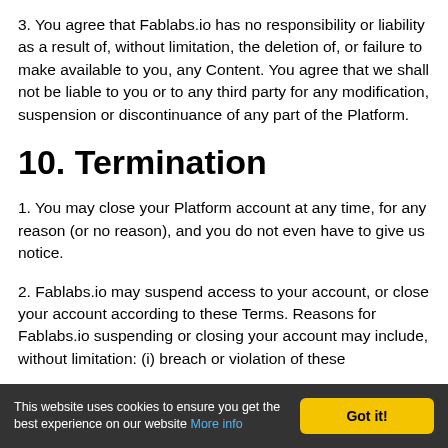3. You agree that Fablabs.io has no responsibility or liability as a result of, without limitation, the deletion of, or failure to make available to you, any Content. You agree that we shall not be liable to you or to any third party for any modification, suspension or discontinuance of any part of the Platform.
10. Termination
1. You may close your Platform account at any time, for any reason (or no reason), and you do not even have to give us notice.
2. Fablabs.io may suspend access to your account, or close your account according to these Terms. Reasons for Fablabs.io suspending or closing your account may include, without limitation: (i) breach or violation of these
This website uses cookies to ensure you get the best experience on our website More info   Got it!